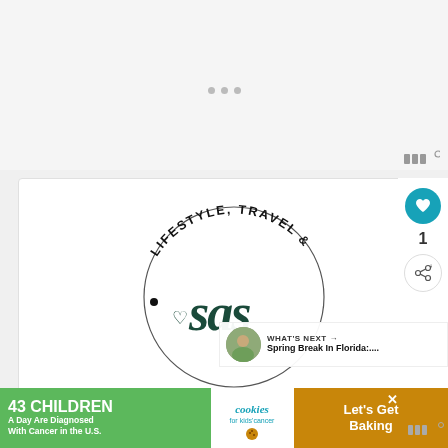[Figure (logo): Circular logo with text 'LIFESTYLE, TRAVEL & RECIPES' around the edge and cursive 'sas' text with a heart in the center]
[Figure (infographic): Social sidebar with teal heart button showing count 1, and share button]
WHAT'S NEXT → Spring Break In Florida:....
[Figure (photo): Small circular thumbnail of people on a beach]
43 CHILDREN A Day Are Diagnosed With Cancer in the U.S.
cookies for kids' cancer
Let's Get Baking